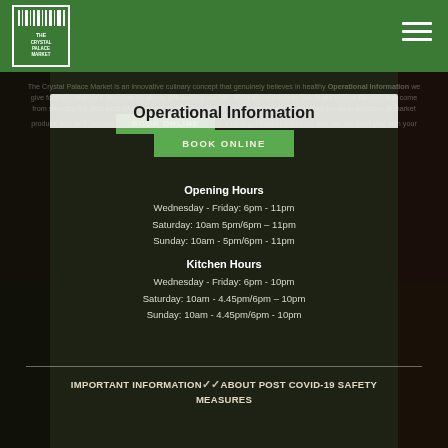The Crystal Palace Market (logo) | hamburger menu
[Figure (logo): The Crystal Palace Market logo — white grid/barcode style icon on green background with text THE CRYSTAL PALACE MARKET]
Operational Information
The Crystal Palace Market is an innovative culinary concept that genuinely believes in healthy... (background text, partially obscured)
BOOK ONLINE
Opening Hours
Wednesday - Friday: 6pm - 11pm
Saturday: 10am 5pm/6pm – 11pm
Sunday: 10am - 5pm/6pm - 11pm
Kitchen Hours
Wednesday - Friday: 6pm - 10pm
Saturday: 10am - 4.45pm/6pm – 10pm
Sunday: 10am - 4.45pm/6pm - 10pm
IMPORTANT INFORMATION ABOUT POST COVID-19 SAFETY MEASURES